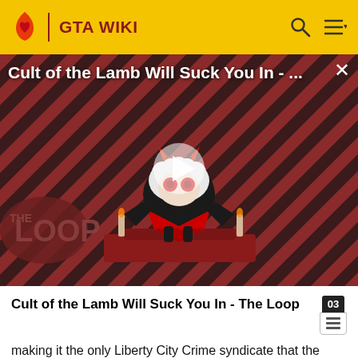GTA WIKI
[Figure (screenshot): Video thumbnail showing a cartoon lamb character with red eyes on a red and black diagonal striped background. 'THE LOOP' logo appears at bottom left. A play button is centered on the image. The title 'Cult of the Lamb Will Suck You In - ...' appears at top.]
Cult of the Lamb Will Suck You In - The Loop
making it the only Liberty City Crime syndicate that the Federal Government has been unable to charge with tax irregularities.